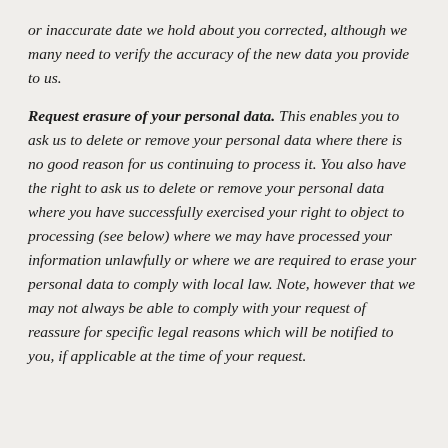or inaccurate date we hold about you corrected, although we many need to verify the accuracy of the new data you provide to us.
Request erasure of your personal data. This enables you to ask us to delete or remove your personal data where there is no good reason for us continuing to process it. You also have the right to ask us to delete or remove your personal data where you have successfully exercised your right to object to processing (see below) where we may have processed your information unlawfully or where we are required to erase your personal data to comply with local law. Note, however that we may not always be able to comply with your request of reassure for specific legal reasons which will be notified to you, if applicable at the time of your request.